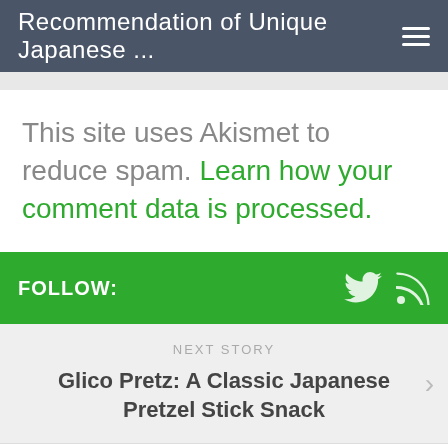Recommendation of Unique Japanese ...
This site uses Akismet to reduce spam. Learn how your comment data is processed.
FOLLOW:
NEXT STORY
Glico Pretz: A Classic Japanese Pretzel Stick Snack